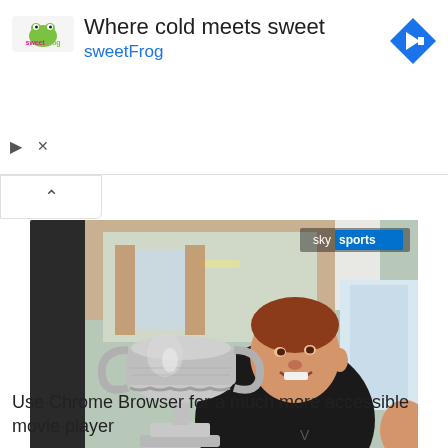[Figure (infographic): Advertisement banner for sweetFrog frozen yogurt: logo on left showing 'sweetFrog' text in pink/green, headline 'Where cold meets sweet', subline 'sweetFrog' in blue, navigation arrow icon on right]
[Figure (screenshot): Video thumbnail from Sky Sports showing a young man in a black t-shirt holding a large silver trophy (US Open style) in what appears to be a home setting. Sky Sports logo watermark in top right corner.]
Use Chrome Browser for a much more accessible movie player